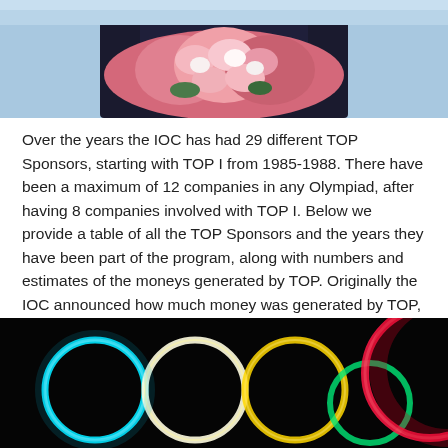[Figure (photo): A person in a dark suit standing behind a large bouquet of pink and white flowers, with a light blue background.]
Over the years the IOC has had 29 different TOP Sponsors, starting with TOP I from 1985-1988. There have been a maximum of 12 companies in any Olympiad, after having 8 companies involved with TOP I. Below we provide a table of all the TOP Sponsors and the years they have been part of the program, along with numbers and estimates of the moneys generated by TOP. Originally the IOC announced how much money was generated by TOP, but the contracts have become somewhat more secretive so for the more recent years (and coming years), the numbers are estimates.
[Figure (photo): Olympic rings rendered in glowing neon light colors (cyan, white/yellow, gold, green, red) against a black background.]